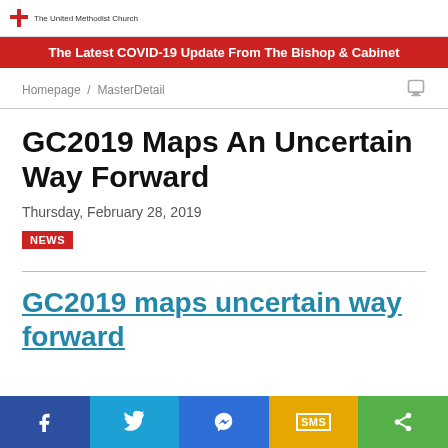The United Methodist Church
The Latest COVID-19 Update From The Bishop & Cabinet
Homepage / MasterDetail
GC2019 Maps An Uncertain Way Forward
Thursday, February 28, 2019
NEWS
GC2019 maps uncertain way forward
Share buttons: Facebook, Twitter, Messenger, SMS, More